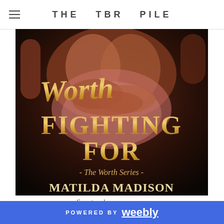THE TBR PILE
[Figure (illustration): Book cover for 'Worth Fighting For' by Matilda Madison, part of The Worth Series. Dark background with two people embracing. Title text in gold: 'Worth' in script, 'FIGHTING FOR' in large serif, '- The Worth Series -' in script, 'MATILDA MADISON' in large serif at bottom.]
Smart and sexy romance.
POWERED BY weebly